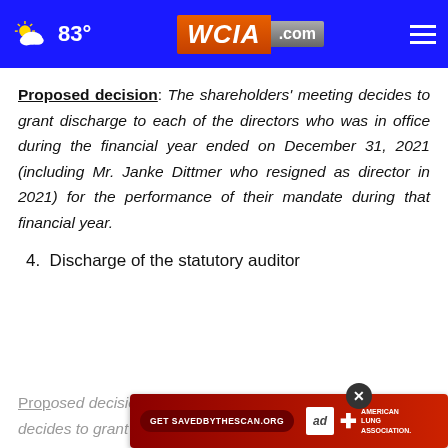83° WCIA.com
Proposed decision: The shareholders' meeting decides to grant discharge to each of the directors who was in office during the financial year ended on December 31, 2021 (including Mr. Janke Dittmer who resigned as director in 2021) for the performance of their mandate during that financial year.
4. Discharge of the statutory auditor
Proposed decision: The shareholders' meeting decides to grant discharge to the statutory
[Figure (other): Advertisement banner for savedbythescan.org featuring American Lung Association branding with a red background and close button]